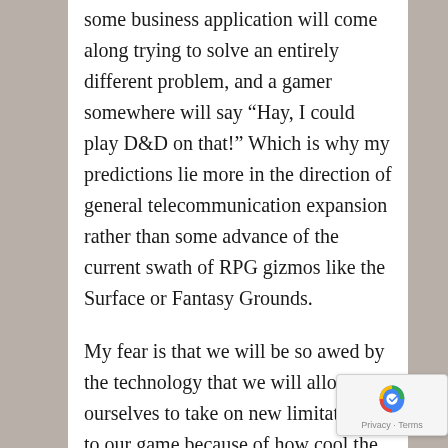some business application will come along trying to solve an entirely different problem, and a gamer somewhere will say “Hay, I could play D&D on that!” Which is why my predictions lie more in the direction of general telecommunication expansion rather than some advance of the current swath of RPG gizmos like the Surface or Fantasy Grounds.

My fear is that we will be so awed by the technology that we will allow ourselves to take on new limitations to our game because of how cool the tech is. I love